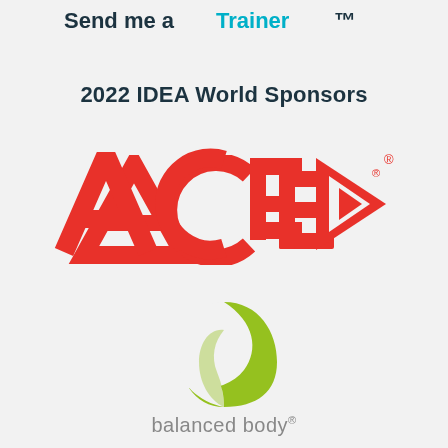Send me a Trainer
2022 IDEA World Sponsors
[Figure (logo): ACE logo in red with arrow pointing right and registered trademark symbol]
[Figure (logo): Balanced Body logo: olive green abstract flame/leaf shape above text 'balanced body' with registered trademark symbol]